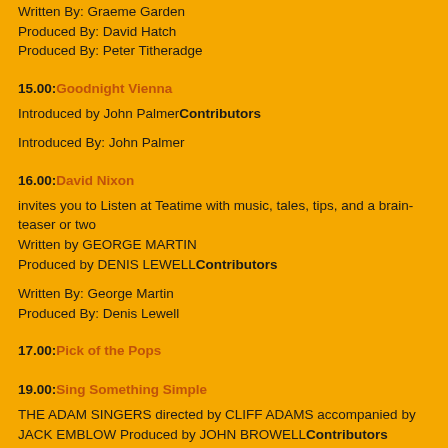Written By: Graeme Garden
Produced By: David Hatch
Produced By: Peter Titheradge
15.00: Goodnight Vienna
Introduced by John PalmerContributors
Introduced By: John Palmer
16.00: David Nixon
invites you to Listen at Teatime with music, tales, tips, and a brain-teaser or two
Written by GEORGE MARTIN
Produced by DENIS LEWELLContributors
Written By: George Martin
Produced By: Denis Lewell
17.00: Pick of the Pops
19.00: Sing Something Simple
THE ADAM SINGERS directed by CLIFF ADAMS accompanied by JACK EMBLOW Produced by JOHN BROWELLContributors